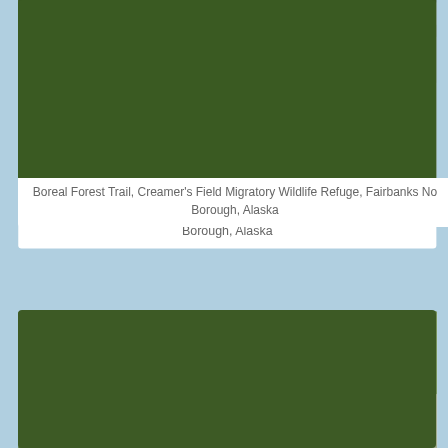[Figure (photo): Boreal forest floor with grass, moss, and yellow autumn leaves — top portion of image visible, cropped]
Boreal Forest Trail, Creamer's Field Migratory Wildlife Refuge, Fairbanks No Borough, Alaska
[Figure (photo): White birch tree trunks with a wooden boardwalk trail winding through green and yellow autumn undergrowth]
Privacy & Cookies: This site uses cookies. By continuing to use this website, you agree to their use. To find out more, including how to control cookies, see here: Cookie Policy